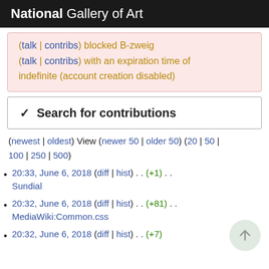National Gallery of Art
(talk | contribs) blocked B-zweig (talk | contribs) with an expiration time of indefinite (account creation disabled)
Search for contributions
(newest | oldest) View (newer 50 | older 50) (20 | 50 | 100 | 250 | 500)
20:33, June 6, 2018 (diff | hist) . . (+1) . . Sundial
20:32, June 6, 2018 (diff | hist) . . (+81) . . MediaWiki:Common.css
20:32, June 6, 2018 (diff | hist) . . (+7)